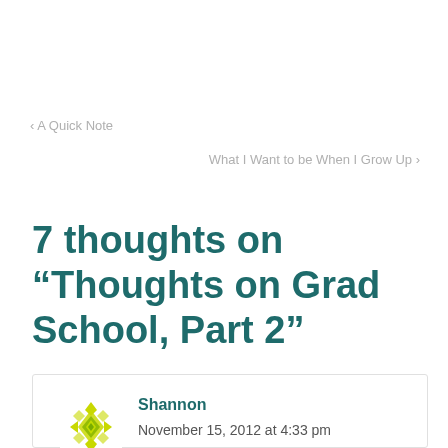‹ A Quick Note
What I Want to be When I Grow Up ›
7 thoughts on “Thoughts on Grad School, Part 2”
Shannon
November 15, 2012 at 4:33 pm